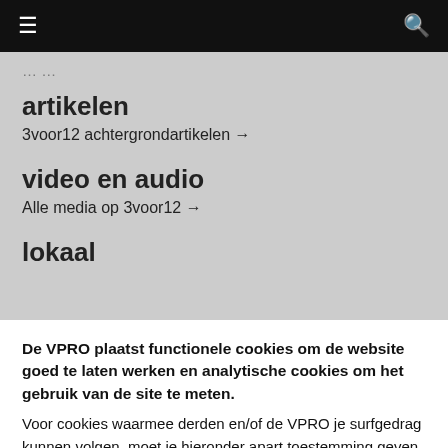≡  🔍
artikelen
3voor12 achtergrondartikelen →
video en audio
Alle media op 3voor12 →
lokaal
De VPRO plaatst functionele cookies om de website goed te laten werken en analytische cookies om het gebruik van de site te meten. Voor cookies waarmee derden en/of de VPRO je surfgedrag kunnen volgen, moet je hieronder apart toestemming geven. Je kunt deze toestemming op elk moment aanpassen.
Voorkeuren opgeven